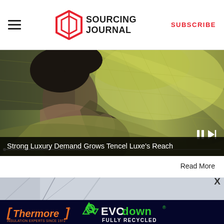Sourcing Journal | SUBSCRIBE
[Figure (photo): Woman in yellow-green ribbed knit fabric draped over head, fashion editorial style photo used as article hero image with video controls overlay]
Strong Luxury Demand Grows Tencel Luxe's Reach
Read More
[Figure (photo): Partial view of second article image, appears to show interior architectural scene]
[Figure (advertisement): Thermore - Insulation Experts Since 1972 | EVO down - FULLY RECYCLED advertisement banner]